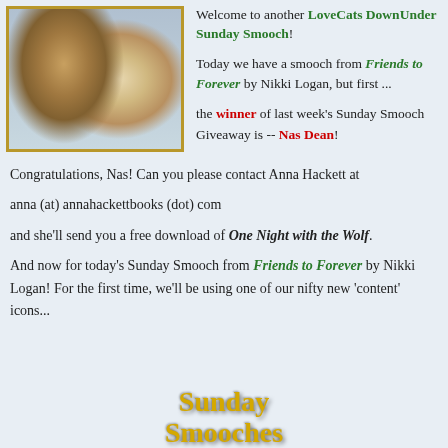[Figure (illustration): Sunday Smooches logo image showing a cat and dog nuzzling together with golden border, and 'Sunday Smooches' text in gold below]
Welcome to another LoveCats DownUnder Sunday Smooch!
Today we have a smooch from Friends to Forever by Nikki Logan, but first ...
the winner of last week's Sunday Smooch Giveaway is -- Nas Dean!
Congratulations, Nas! Can you please contact Anna Hackett at
anna (at) annahackettbooks (dot) com
and she'll send you a free download of One Night with the Wolf.
And now for today's Sunday Smooch from Friends to Forever by Nikki Logan! For the first time, we'll be using one of our nifty new 'content' icons...